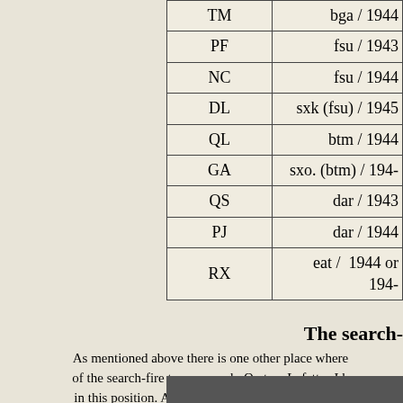| Code | Source / Year |
| --- | --- |
| TM | bga / 1944 |
| PF | fsu / 1943 |
| NC | fsu / 1944 |
| DL | sxk (fsu) / 1945 |
| QL | btm / 1944 |
| GA | sxo. (btm) / 194- |
| QS | dar / 1943 |
| PJ | dar / 1944 |
| RX | eat /  1944 or 194- |
The search-
As mentioned above there is one other place where of the search-fire traverse arch. On two Lafettes I h in this position. A study of the marking clearly sho Wa-
[Figure (photo): A partial photograph strip visible at the bottom of the page.]